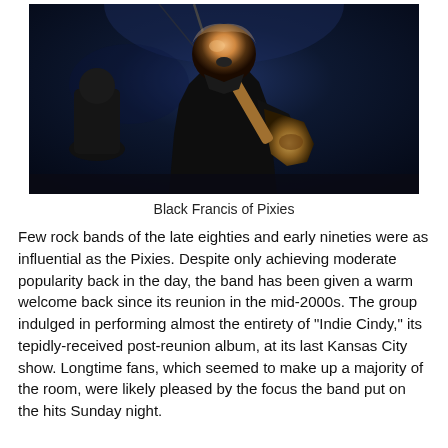[Figure (photo): Concert photo of Black Francis of Pixies playing guitar and singing into a microphone on a dark stage, lit with warm orange light. Another performer visible in the background.]
Black Francis of Pixies
Few rock bands of the late eighties and early nineties were as influential as the Pixies. Despite only achieving moderate popularity back in the day, the band has been given a warm welcome back since its reunion in the mid-2000s. The group indulged in performing almost the entirety of "Indie Cindy," its tepidly-received post-reunion album, at its last Kansas City show. Longtime fans, which seemed to make up a majority of the room, were likely pleased by the focus the band put on the hits Sunday night.